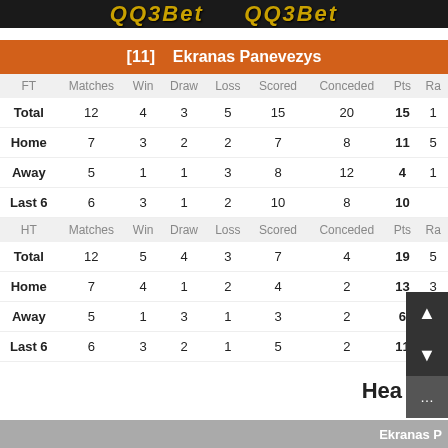QQ3Bet QQ3Bet
[11]  Ekranas Panevezys
| FT | Matches | Win | Draw | Loss | Scored | Conceded | Pts | Ra |
| --- | --- | --- | --- | --- | --- | --- | --- | --- |
| Total | 12 | 4 | 3 | 5 | 15 | 20 | 15 | 1 |
| Home | 7 | 3 | 2 | 2 | 7 | 8 | 11 | 5 |
| Away | 5 | 1 | 1 | 3 | 8 | 12 | 4 | 1 |
| Last 6 | 6 | 3 | 1 | 2 | 10 | 8 | 10 |  |
| HT | Matches | Win | Draw | Loss | Scored | Conceded | Pts | Ra |
| --- | --- | --- | --- | --- | --- | --- | --- | --- |
| Total | 12 | 5 | 4 | 3 | 7 | 4 | 19 | 5 |
| Home | 7 | 4 | 1 | 2 | 4 | 2 | 13 | 3 |
| Away | 5 | 1 | 3 | 1 | 3 | 2 | 6 | 1 |
| Last 6 | 6 | 3 | 2 | 1 | 5 | 2 | 11 |  |
Ekranas P